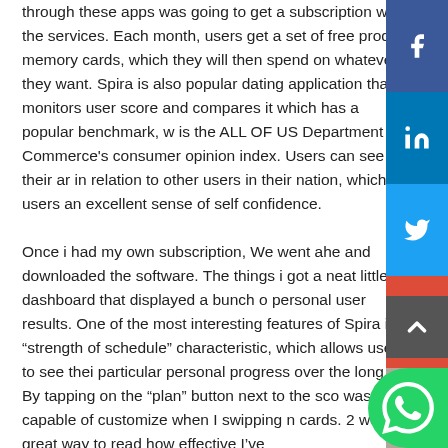through these apps was going to get a subscription with the services. Each month, users get a set of free product memory cards, which they will then spend on whatever they want. Spira is also popular dating application that monitors user score and compares it which has a popular benchmark, which is the ALL OF US Department of Commerce's consumer opinion index. Users can see their and in relation to other users in their nation, which users an excellent sense of self confidence.

Once i had my own subscription, We went ahead and downloaded the software. The things i got a neat little dashboard that displayed a bunch of personal user results. One of the most interesting features of Spira is a “strength of schedule” characteristic, which allows users to see their particular personal progress over the long term. By tapping on the “plan” button next to the score was capable of customize when I swipping my cards. 2 weeks , great way to read how effective I’ve
[Figure (infographic): Social media sharing sidebar with Facebook, LinkedIn, Twitter, Google+, and Instagram buttons, plus a back-to-top arrow button and WhatsApp floating button]